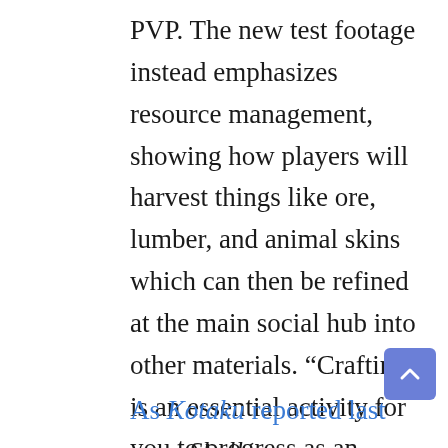PVP. The new test footage instead emphasizes resource management, showing how players will harvest things like ore, lumber, and animal skins which can then be refined at the main social hub into other materials. “Crafting is an essential activity for you to progress as an infamous pirate,” the narrator says. The footage stresses that the game can be played solo, but Ubisoft recently described it as “multiplayer-first.” There is even a robust “Vanity Shop” for cosmetics.
As Kotaku reported last year, Skull